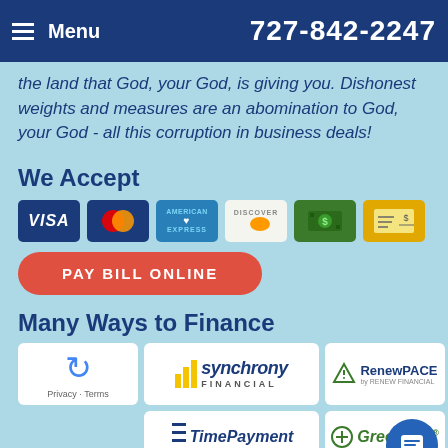Menu  727-842-2247
the land that God, your God, is giving you. Dishonest weights and measures are an abomination to God, your God - all this corruption in business deals!
We Accept
[Figure (infographic): Six payment method icons: VISA, Mastercard, American Express, Discover, Cash, Check]
PAY BILL ONLINE
Many Ways to Finance
[Figure (infographic): Finance partner logos: reCAPTCHA/Privacy-Terms, Synchrony Financial, RenewPACE by Renew Financial, TimePayment, GreenSky]